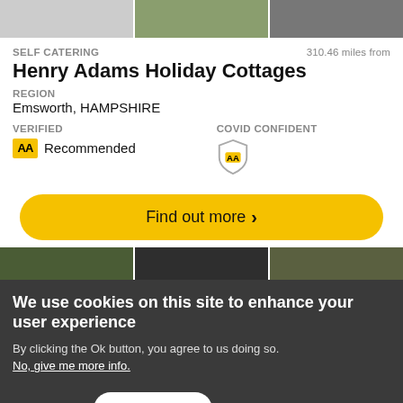[Figure (photo): Three thumbnail images of holiday cottages at the top of the listing card]
SELF CATERING
310.46 miles from
Henry Adams Holiday Cottages
REGION
Emsworth, HAMPSHIRE
VERIFIED
COVID CONFIDENT
[Figure (logo): AA yellow badge with 'AA' text and 'Recommended' label]
[Figure (logo): AA Covid Confident shield badge]
Find out more >
[Figure (photo): Partial image strip of holiday property visible behind cookie banner]
We use cookies on this site to enhance your user experience
By clicking the Ok button, you agree to us doing so.
No, give me more info.
No, thanks
OK, I agree